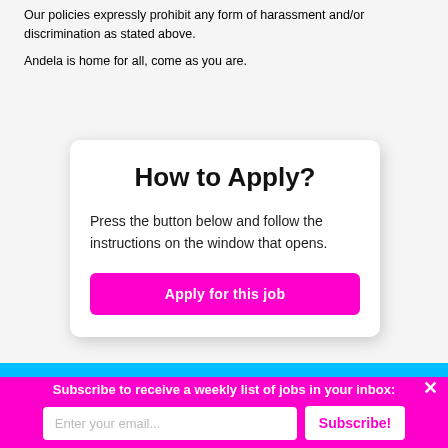Our policies expressly prohibit any form of harassment and/or discrimination as stated above.
Andela is home for all, come as you are.
How to Apply?
Press the button below and follow the instructions on the window that opens.
Apply for this job
Subscribe to receive a weekly list of jobs in your inbox:
Enter your email...
Subscribe!